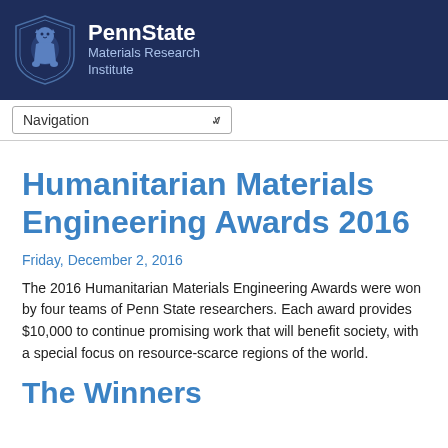[Figure (logo): Penn State Materials Research Institute header with navy blue background, lion shield logo on left, bold white PennState text and light blue Materials Research Institute subtitle on right]
[Figure (screenshot): Navigation dropdown selector bar with white background]
Humanitarian Materials Engineering Awards 2016
Friday, December 2, 2016
The 2016 Humanitarian Materials Engineering Awards were won by four teams of Penn State researchers. Each award provides $10,000 to continue promising work that will benefit society, with a special focus on resource-scarce regions of the world.
The Winners